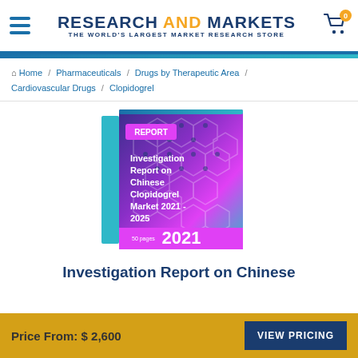RESEARCH AND MARKETS - THE WORLD'S LARGEST MARKET RESEARCH STORE
Home / Pharmaceuticals / Drugs by Therapeutic Area / Cardiovascular Drugs / Clopidogrel
[Figure (illustration): Book cover for Investigation Report on Chinese Clopidogrel Market 2021-2025, labeled REPORT, with geometric hexagon pattern background in blue/teal/purple/pink gradient, showing '50 pages' and '2021']
Investigation Report on Chinese Clopidogrel Mar...
Price From: $2,600
VIEW PRICING